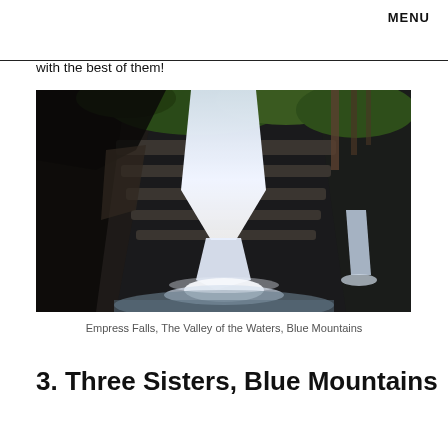MENU
with the best of them!
[Figure (photo): Empress Falls waterfall cascading over dark rocky ledges into a pool, surrounded by lush green vegetation and canyon walls, Blue Mountains.]
Empress Falls, The Valley of the Waters, Blue Mountains
3. Three Sisters, Blue Mountains